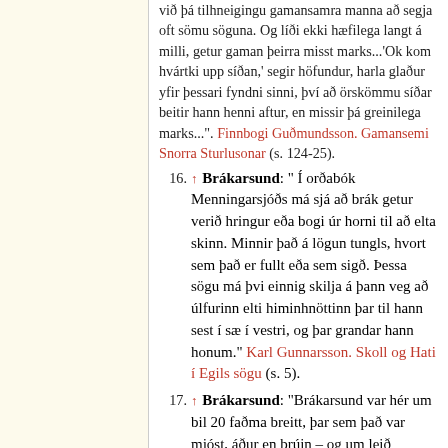við þá tilhneigingu gamansamra manna að segja oft sömu söguna. Og líði ekki hæfilega langt á milli, getur gaman þeirra misst marks...'Ok kom hvártki upp síðan,' segir höfundur, harla glaður yfir þessari fyndni sinni, því að örskömmu síðar beitir hann henni aftur, en missir þá greinilega marks...". Finnbogi Guðmundsson. Gamansemi Snorra Sturlusonar (s. 124-25).
16. ↑ Brákarsund: " Í orðabók Menningarsjóðs má sjá að brák getur verið hringur eða bogi úr horni til að elta skinn. Minnir það á lögun tungls, hvort sem það er fullt eða sem sigð. Þessa sögu má þvi einnig skilja á þann veg að úlfurinn elti himinhnöttinn þar til hann sest í sæ í vestri, og þar grandar hann honum." Karl Gunnarsson. Skoll og Hati í Egils sögu (s. 5).
17. ↑ Brákarsund: "Brákarsund var hér um bil 20 faðma breitt, þar sem það var mjóst, áður en brúin – og um leið ...